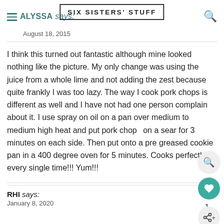SIX SISTERS' STUFF
ALYSSA says:
August 18, 2015
I think this turned out fantastic although mine looked nothing like the picture. My only change was using the juice from a whole lime and not adding the zest because quite frankly I was too lazy. The way I cook pork chops is different as well and I have not had one person complain about it. I use spray on oil on a pan over medium to medium high heat and put pork chops on a sear for 3 minutes on each side. Then put onto a pre greased cookie pan in a 400 degree oven for 5 minutes. Cooks perfectly every single time!!! Yum!!!
RHI says:
January 8, 2020